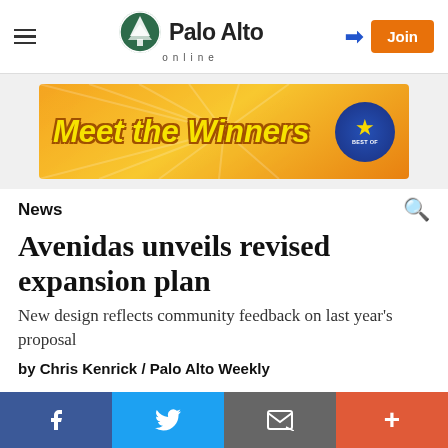Palo Alto online
[Figure (infographic): Meet the Winners Best Of advertisement banner with orange gradient background and yellow star badge]
News
Avenidas unveils revised expansion plan
New design reflects community feedback on last year's proposal
by Chris Kenrick / Palo Alto Weekly
Facebook  Twitter  Email  More